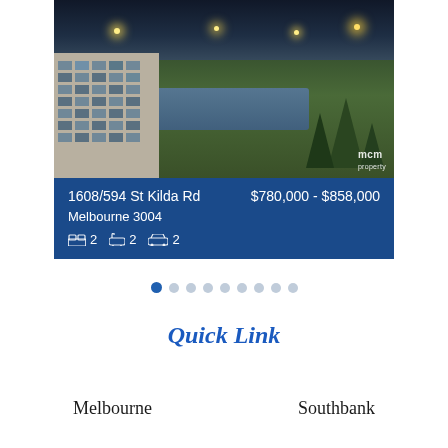[Figure (photo): Aerial/elevated photograph of 1608/594 St Kilda Rd Melbourne, showing a waterway, green parkland, trees, and buildings with city lights at dusk. MCM branding visible in lower right corner.]
1608/594 St Kilda Rd    $780,000 - $858,000
Melbourne 3004
🛏 2  🛁 2  🚗 2
Quick Link
Melbourne
Southbank